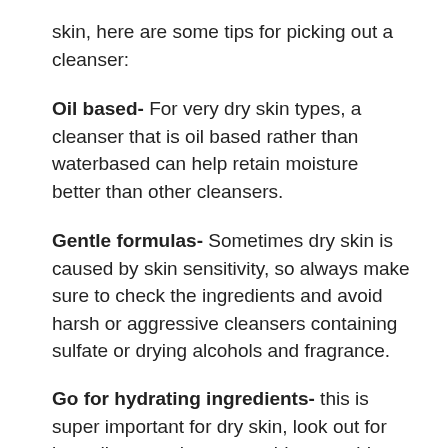skin, here are some tips for picking out a cleanser:
Oil based- For very dry skin types, a cleanser that is oil based rather than waterbased can help retain moisture better than other cleansers.
Gentle formulas- Sometimes dry skin is caused by skin sensitivity, so always make sure to check the ingredients and avoid harsh or aggressive cleansers containing sulfate or drying alcohols and fragrance.
Go for hydrating ingredients- this is super important for dry skin, look out for ingredients such as ceramides, peptides and hyaluronic acid to hydrate and fortify the skin barrier